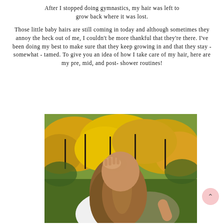After I stopped doing gymnastics, my hair was left to grow back where it was lost.
Those little baby hairs are still coming in today and although sometimes they annoy the heck out of me, I couldn't be more thankful that they're there. I've been doing my best to make sure that they keep growing in and that they stay - somewhat - tamed. To give you an idea of how I take care of my hair, here are my pre, mid, and post-shower routines!
[Figure (photo): A person with long brown hair touching their head, photographed from behind against a backdrop of bright yellow flowering bushes (forsythia). The person is wearing a white top and an olive/khaki jacket.]